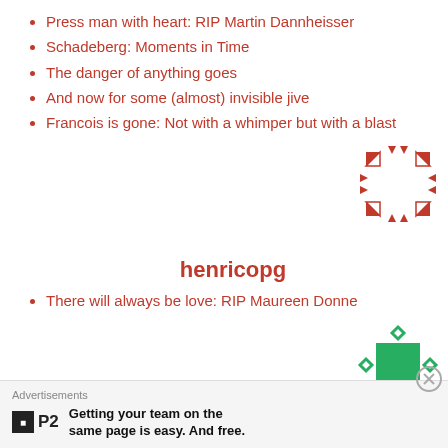Press man with heart: RIP Martin Dannheisser
Schadeberg: Moments in Time
The danger of anything goes
And now for some (almost) invisible jive
Francois is gone: Not with a whimper but with a blast
[Figure (logo): Red pixel-art QR-style logo]
henricopg
There will always be love: RIP Maureen Donne
[Figure (logo): Green cross/plus shape with diamond outlines logo]
huibrechtdehart
Advertisements
[Figure (logo): P2 logo - black square with P2 text]
Getting your team on the same page is easy. And free.